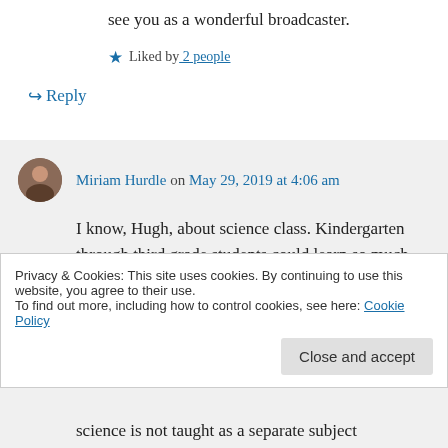see you as a wonderful broadcaster.
★ Liked by 2 people
↪ Reply
Miriam Hurdle on May 29, 2019 at 4:06 am
I know, Hugh, about science class. Kindergarten through third grade students could learn so much science through
Privacy & Cookies: This site uses cookies. By continuing to use this website, you agree to their use. To find out more, including how to control cookies, see here: Cookie Policy
science is not taught as a separate subject